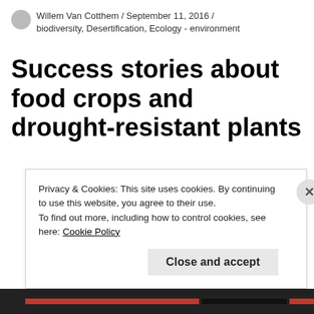Willem Van Cotthem / September 11, 2016 / biodiversity, Desertification, Ecology - environment
Success stories about food crops and drought-resistant plants
Privacy & Cookies: This site uses cookies. By continuing to use this website, you agree to their use.
To find out more, including how to control cookies, see here: Cookie Policy